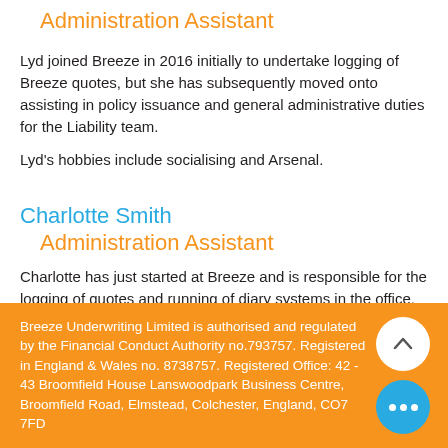Administration Assistant
Lyd joined Breeze in 2016 initially to undertake logging of Breeze quotes, but she has subsequently moved onto assisting in policy issuance and general administrative duties for the Liability team.
Lyd's hobbies include socialising and Arsenal.
Charlotte Smith
Administration Assistant
Charlotte has just started at Breeze and is responsible for the logging of quotes and running of diary systems in the office.
Breeze Underwriting Limited is authorised and regulated by the Financial Conduct Authority no.793757. Registered in England & Wales no. 8738757. Registered Office: 42 - 43 Broomfield House Lanswoodpark Business Centre, Broomfield Road, Elmstead, Colchester, England, CO7 7FD